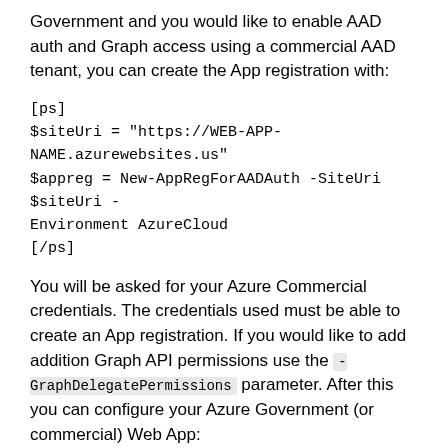Government and you would like to enable AAD auth and Graph access using a commercial AAD tenant, you can create the App registration with:
[ps]
$siteUri = "https://WEB-APP-NAME.azurewebsites.us"
$appreg = New-AppRegForAADAuth -SiteUri $siteUri -Environment AzureCloud
[/ps]
You will be asked for your Azure Commercial credentials. The credentials used must be able to create an App registration. If you would like to add addition Graph API permissions use the -GraphDelegatePermissions parameter. After this you can configure your Azure Government (or commercial) Web App:
[ps]
Set-WebAppAADAuth -ResourceGroupName RG-NAME -